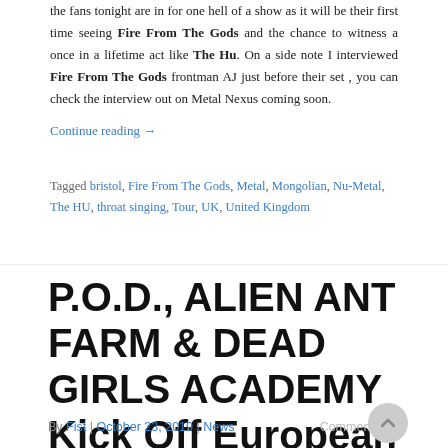the fans tonight are in for one hell of a show as it will be their first time seeing Fire From The Gods and the chance to witness a once in a lifetime act like The Hu. On a side note I interviewed Fire From The Gods frontman AJ just before their set , you can check the interview out on Metal Nexus coming soon. Continue reading →
Tagged bristol, Fire From The Gods, Metal, Mongolian, Nu-Metal, The HU, throat singing, Tour, UK, United Kingdom
P.O.D., ALIEN ANT FARM & DEAD GIRLS ACADEMY Kick Off European Tour!
By Fist | October 23, 2019 | News
Comments Off